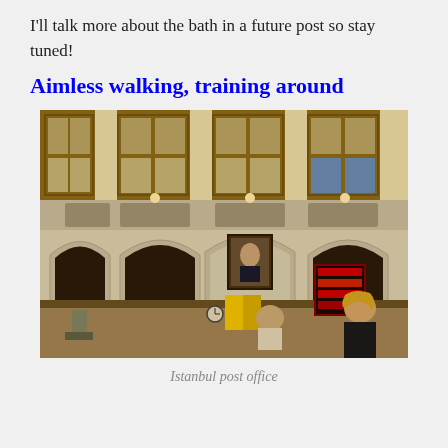I'll talk more about the bath in a future post so stay tuned!
Aimless walking, training around
[Figure (photo): Interior of Istanbul post office showing ornate arched architecture, wooden galleries on upper floor, a portrait painting above the service counter, and people at the counter below.]
Istanbul post office